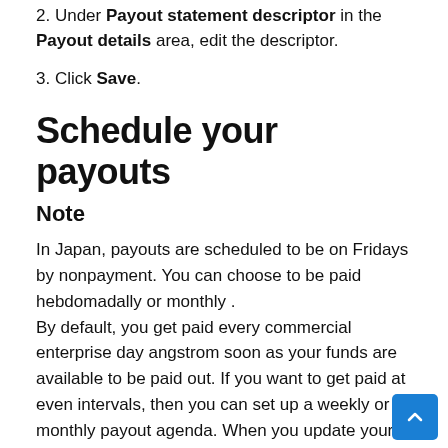2. Under Payout statement descriptor in the Payout details area, edit the descriptor.
3. Click Save.
Schedule your payouts
Note
In Japan, payouts are scheduled to be on Fridays by nonpayment. You can choose to be paid hebdomadally or monthly . By default, you get paid every commercial enterprise day angstrom soon as your funds are available to be paid out. If you want to get paid at even intervals, then you can set up a weekly or monthly payout agenda. When you update your